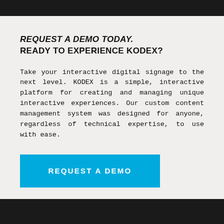REQUEST A DEMO TODAY.
READY TO EXPERIENCE KODEX?
Take your interactive digital signage to the next level. KODEX is a simple, interactive platform for creating and managing unique interactive experiences. Our custom content management system was designed for anyone, regardless of technical expertise, to use with ease.
REQUEST A DEMO